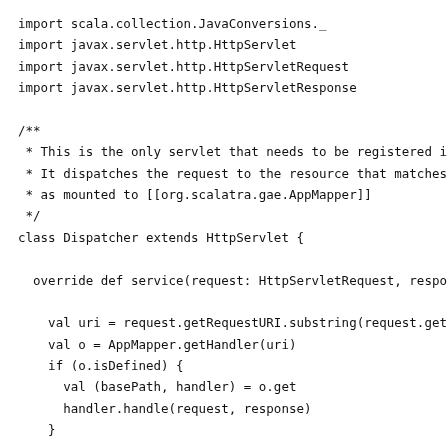import scala.collection.JavaConversions._
import javax.servlet.http.HttpServlet
import javax.servlet.http.HttpServletRequest
import javax.servlet.http.HttpServletResponse

/**
 * This is the only servlet that needs to be registered i
 * It dispatches the request to the resource that matches
 * as mounted to [[org.scalatra.gae.AppMapper]]
 */
class Dispatcher extends HttpServlet {

  override def service(request: HttpServletRequest, respo

    val uri = request.getRequestURI.substring(request.get
    val o = AppMapper.getHandler(uri)
    if (o.isDefined) {
      val (basePath, handler) = o.get
      handler.handle(request, response)
    }

  }

}